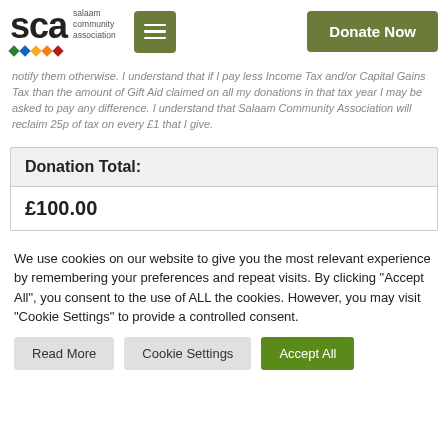SCA salaam community association | menu | Donate Now
notify them otherwise. I understand that if I pay less Income Tax and/or Capital Gains Tax than the amount of Gift Aid claimed on all my donations in that tax year I may be asked to pay any difference. I understand that Salaam Community Association will reclaim 25p of tax on every £1 that I give.
| Donation Total: |
| --- |
| £100.00 |
We use cookies on our website to give you the most relevant experience by remembering your preferences and repeat visits. By clicking "Accept All", you consent to the use of ALL the cookies. However, you may visit "Cookie Settings" to provide a controlled consent.
Read More
Cookie Settings
Accept All